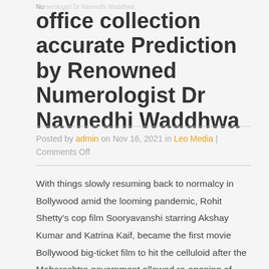Numerologist Dr Navnedhi Waddhwa
office collection accurate Prediction by Renowned Numerologist Dr Navnedhi Waddhwa
Posted by admin on Nov 16, 2021 in Leo Media | Comments Off
With things slowly resuming back to normalcy in Bollywood amid the looming pandemic, Rohit Shetty's cop film Sooryavanshi starring Akshay Kumar and Katrina Kaif, became the first movie Bollywood big-ticket film to hit the celluloid after the Maharashtra government allowed re-opening of